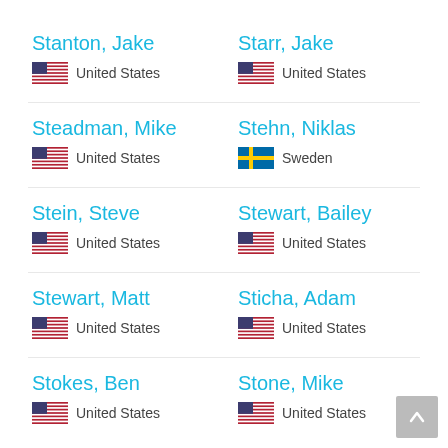Stanton, Jake — United States
Starr, Jake — United States
Steadman, Mike — United States
Stehn, Niklas — Sweden
Stein, Steve — United States
Stewart, Bailey — United States
Stewart, Matt — United States
Sticha, Adam — United States
Stokes, Ben — United States
Stone, Mike — United States